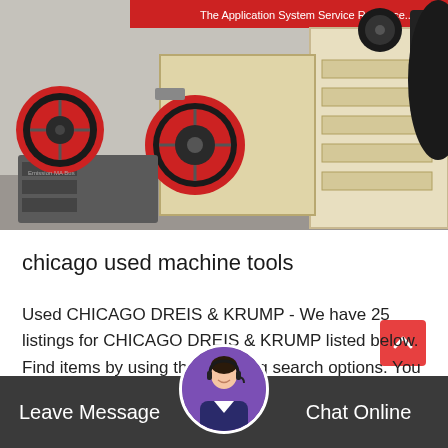[Figure (photo): Industrial jaw crushers and heavy mining/crushing equipment in a warehouse setting. Large beige/cream colored machines with red and black flywheels, and a gray machine component on the left. A red banner with white text is visible in the background.]
chicago used machine tools
Used CHICAGO DREIS & KRUMP - We have 25 listings for CHICAGO DREIS & KRUMP listed below. Find items by using the following search options. You can also....
Release Time : Mar_